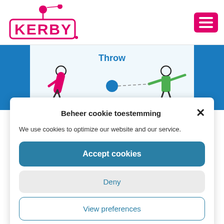[Figure (logo): KERBY logo with pink/magenta lettering in bold box and a figure with a ball above]
[Figure (illustration): Hamburger menu icon button in magenta/pink square]
[Figure (illustration): Throw illustration: two stick figures, one in pink bending down, one in green with arms out, blue ball in the middle with dashed line. Label: Throw in blue text above.]
Beheer cookie toestemming
We use cookies to optimize our website and our service.
Accept cookies
Deny
View preferences